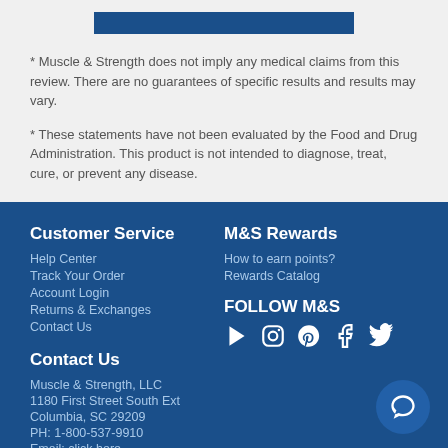[Figure (other): Blue button bar at top of page]
* Muscle & Strength does not imply any medical claims from this review. There are no guarantees of specific results and results may vary.
* These statements have not been evaluated by the Food and Drug Administration. This product is not intended to diagnose, treat, cure, or prevent any disease.
Customer Service
Help Center
Track Your Order
Account Login
Returns & Exchanges
Contact Us
M&S Rewards
How to earn points?
Rewards Catalog
FOLLOW M&S
[Figure (other): Social media icons: YouTube, Instagram, Pinterest, Facebook, Twitter]
Contact Us
Muscle & Strength, LLC
1180 First Street South Ext
Columbia, SC 29209
PH: 1-800-537-9910
Email: click here